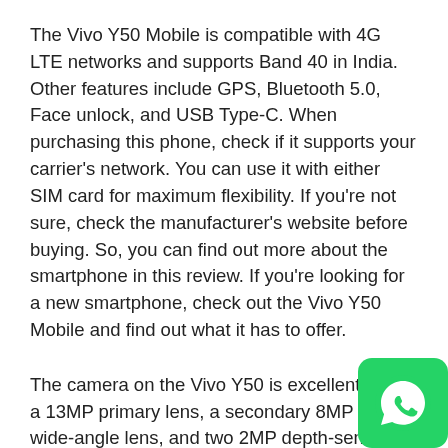The Vivo Y50 Mobile is compatible with 4G LTE networks and supports Band 40 in India. Other features include GPS, Bluetooth 5.0, Face unlock, and USB Type-C. When purchasing this phone, check if it supports your carrier's network. You can use it with either SIM card for maximum flexibility. If you're not sure, check the manufacturer's website before buying. So, you can find out more about the smartphone in this review. If you're looking for a new smartphone, check out the Vivo Y50 Mobile and find out what it has to offer.
The camera on the Vivo Y50 is excellent. It has a 13MP primary lens, a secondary 8MP ultra-wide-angle lens, and two 2MP depth-sensing lenses. These lenses work together to take stunning pictures, no matter what the light conditions. In addition to great photos, the Vivo Y50's quad-camera setup has an intuitive Super Night feature. The Super Night feature automatically adjusts photography parameters to ensure perfect selfies.